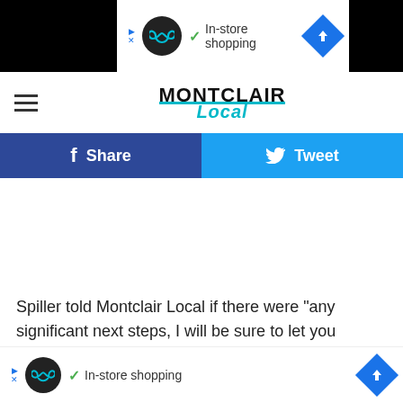[Figure (screenshot): Top advertisement bar showing an infinity loop logo, checkmark with 'In-store shopping' text, and a blue diamond navigation arrow icon]
MONTCLAIR Local
[Figure (infographic): Facebook Share button (dark blue) and Twitter Tweet button (light blue) social sharing buttons]
Spiller told Montclair Local if there were "any significant next steps, I will be sure to let you know." His message, like anothe... n't say what w... lace
[Figure (screenshot): Bottom advertisement bar showing an infinity loop logo, checkmark with 'In-store shopping' text, and a blue diamond navigation arrow icon]